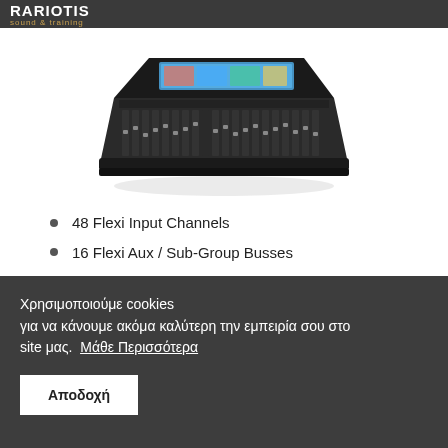RARIOTIS sound & training
[Figure (photo): Digital audio mixing console / mixer product photo, viewed from above-front angle, dark chassis with many faders and a large touchscreen display]
48 Flexi Input Channels
16 Flexi Aux / Sub-Group Busses
LR Master Bus
10 x 8 Full Processing Matrix
2 Solo
Χρησιμοποιούμε cookies για να κάνουμε ακόμα καλύτερη την εμπειρία σου στο site μας.  Μάθε Περισσότερα
Αποδοχή